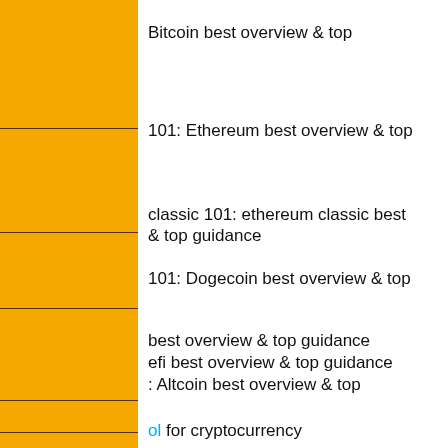Bitcoin best overview & top
101: Ethereum best overview & top
classic 101: ethereum classic best & top guidance
101: Dogecoin best overview & top
best overview & top guidance
efi best overview & top guidance
: Altcoin best overview & top
ol for cryptocurrency